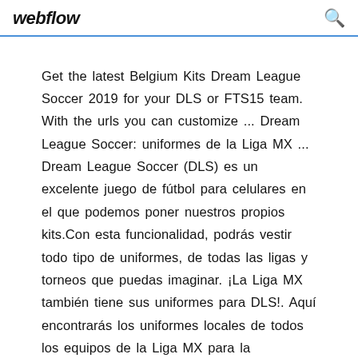webflow
Get the latest Belgium Kits Dream League Soccer 2019 for your DLS or FTS15 team. With the urls you can customize ... Dream League Soccer: uniformes de la Liga MX ... Dream League Soccer (DLS) es un excelente juego de fútbol para celulares en el que podemos poner nuestros propios kits.Con esta funcionalidad, podrás vestir todo tipo de uniformes, de todas las ligas y torneos que puedas imaginar. ¡La Liga MX también tiene sus uniformes para DLS!. Aquí encontrarás los uniformes locales de todos los equipos de la Liga MX para la temporada 2019/2020. Dream League Soccer 2020 - DLS 20 Apk Obb ...